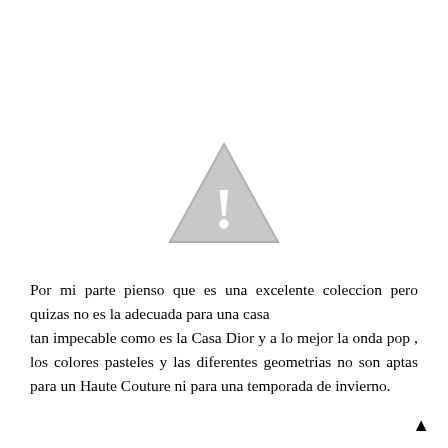[Figure (illustration): A grey warning triangle icon with a white exclamation mark inside, centered on the upper portion of the page.]
Por mi parte pienso que es una excelente coleccion pero quizas no es la adecuada para una casa
tan impecable como es la Casa Dior y a lo mejor la onda pop , los colores pasteles y las diferentes geometrias no son aptas para un Haute Couture ni para una temporada de invierno.